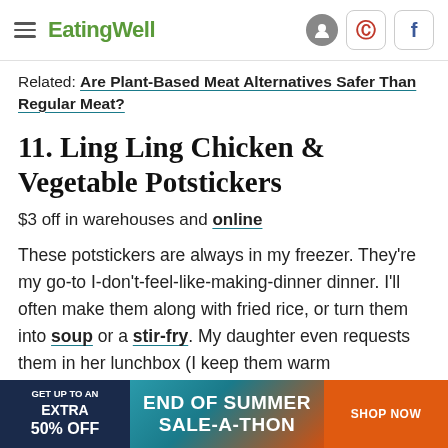EatingWell
Related: Are Plant-Based Meat Alternatives Safer Than Regular Meat?
11. Ling Ling Chicken & Vegetable Potstickers
$3 off in warehouses and online
These potstickers are always in my freezer. They're my go-to I-don't-feel-like-making-dinner dinner. I'll often make them along with fried rice, or turn them into soup or a stir-fry. My daughter even requests them in her lunchbox (I keep them warm
[Figure (other): Advertisement banner: GET UP TO AN EXTRA 50% OFF | END OF SUMMER SALE-A-THON | SHOP NOW]